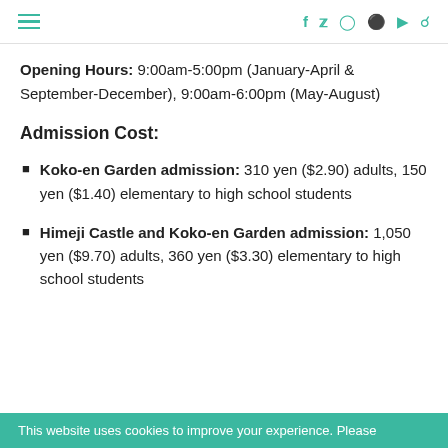Navigation bar with hamburger menu and social icons (Facebook, Twitter, Instagram, Pinterest, YouTube, Search)
Opening Hours: 9:00am-5:00pm (January-April & September-December), 9:00am-6:00pm (May-August)
Admission Cost:
Koko-en Garden admission: 310 yen ($2.90) adults, 150 yen ($1.40) elementary to high school students
Himeji Castle and Koko-en Garden admission: 1,050 yen ($9.70) adults, 360 yen ($3.30) elementary to high school students
This website uses cookies to improve your experience. Please